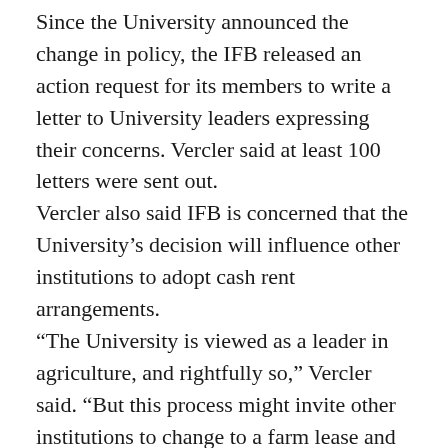Since the University announced the change in policy, the IFB released an action request for its members to write a letter to University leaders expressing their concerns. Vercler said at least 100 letters were sent out. Vercler also said IFB is concerned that the University's decision will influence other institutions to adopt cash rent arrangements. “The University is viewed as a leader in agriculture, and rightfully so,” Vercler said. “But this process might invite other institutions to change to a farm lease and the cash rent levels they (the University) receive might be used as a benchmark to increase rates across the region.” Todd added that the University might receive